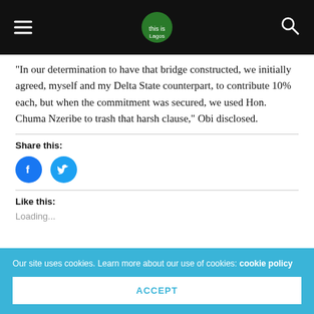[Navigation bar with hamburger menu, site logo, and search icon]
“In our determination to have that bridge constructed, we initially agreed, myself and my Delta State counterpart, to contribute 10% each, but when the commitment was secured, we used Hon. Chuma Nzeribe to trash that harsh clause,” Obi disclosed.
Share this:
[Figure (other): Facebook share button (blue circle with white F icon) and Twitter share button (light blue circle with white bird icon)]
Like this:
Loading...
Our site uses cookies. Learn more about our use of cookies: cookie policy
ACCEPT